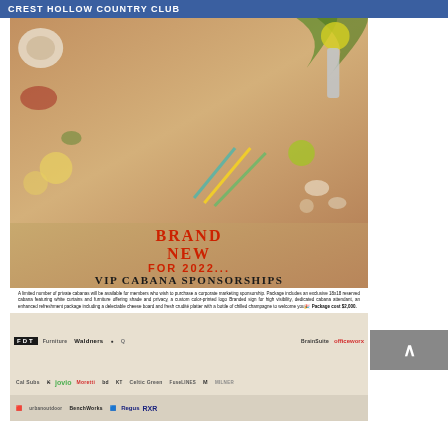CREST HOLLOW COUNTRY CLUB
[Figure (infographic): CIBS Summer Party event flyer with tropical beach theme. Features CIBS logo, Summer Party text, date Wednesday July 27th 5:30PM, venue Crest Hollow Country Club, Free for CIBS Members - $150 Guests, The Jimmy Kenny Band with hits from the 70s & 80s, Brand New for 2022 - VIP Cabana Sponsorships, description of cabana package costing $2,000, and sponsor logos including FDT, Waldners, jovio, officeworx, Regus, RXR and others.]